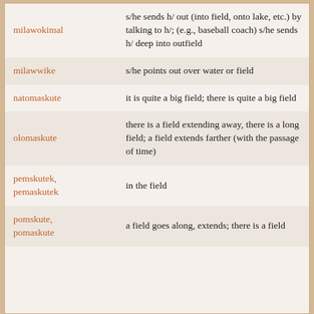| Term | Definition |
| --- | --- |
| milawokimal | s/he sends h/ out (into field, onto lake, etc.) by talking to h/; (e.g., baseball coach) s/he sends h/ deep into outfield |
| milawwike | s/he points out over water or field |
| natomaskute | it is quite a big field; there is quite a big field |
| olomaskute | there is a field extending away, there is a long field; a field extends farther (with the passage of time) |
| pemskutek, pemaskutek | in the field |
| pomskute, pomaskute | a field goes along, extends; there is a field |